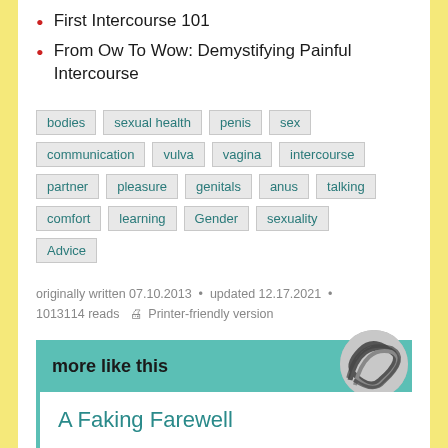First Intercourse 101
From Ow To Wow: Demystifying Painful Intercourse
bodies | sexual health | penis | sex | communication | vulva | vagina | intercourse | partner | pleasure | genitals | anus | talking | comfort | learning | Gender | sexuality | Advice
originally written 07.10.2013 • updated 12.17.2021 • 1013114 reads  Printer-friendly version
more like this
A Faking Farewell